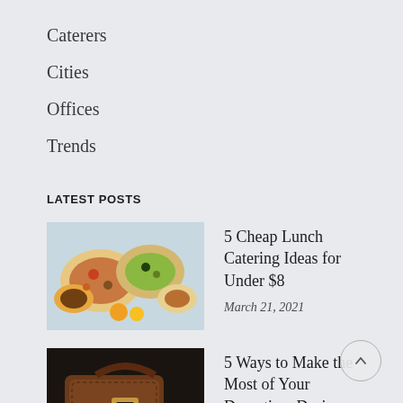Caterers
Cities
Offices
Trends
LATEST POSTS
[Figure (photo): Food catering spread with bowls of various dishes, salads and sauces on a light blue surface]
5 Cheap Lunch Catering Ideas for Under $8
March 21, 2021
[Figure (photo): Person holding a brown leather travel bag with a credit card or phone, dark background]
5 Ways to Make the Most of Your Downtime During Travel for Work
March 18, 2021